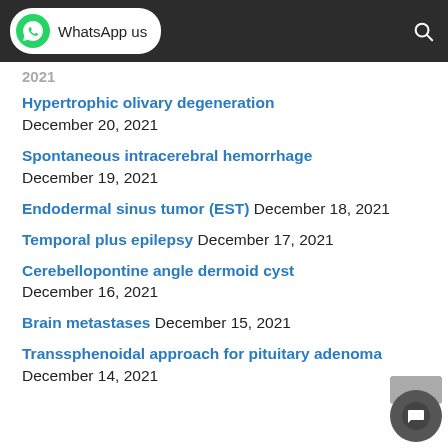WhatsApp us
2021
Hypertrophic olivary degeneration December 20, 2021
Spontaneous intracerebral hemorrhage December 19, 2021
Endodermal sinus tumor (EST) December 18, 2021
Temporal plus epilepsy December 17, 2021
Cerebellopontine angle dermoid cyst December 16, 2021
Brain metastases December 15, 2021
Transsphenoidal approach for pituitary adenoma December 14, 2021